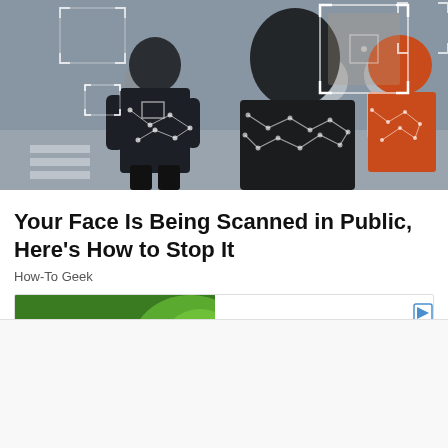[Figure (photo): Crowd of pedestrians crossing a street with facial recognition / AI scanning overlay graphics — bounding boxes on faces, geometric mesh patterns on backs, network node lines. One central figure in a black shirt, another in an orange shirt on the right.]
Your Face Is Being Scanned in Public, Here's How to Stop It
How-To Geek
[Figure (infographic): Advertisement banner for Kats Botanicals: left half green background with bold white text 'PURE. ENERGY.' and a green juice/smoothie image; right half white background with italic text 'Empower Yourself.' and the Kats Botanicals logo with a leaf icon. Small play/arrow triangle button in top-right corner.]
[Figure (photo): Thumbnail image of a dark-toned food article, partially visible at the bottom of the page.]
Breakfast: 15 Foods You Should